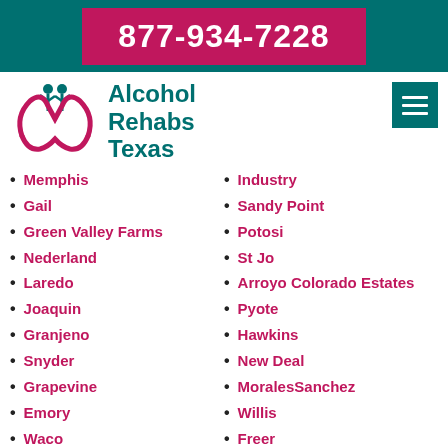877-934-7228
Alcohol Rehabs Texas
Memphis
Gail
Green Valley Farms
Nederland
Laredo
Joaquin
Granjeno
Snyder
Grapevine
Emory
Waco
La Carla
La Grulla
Lampasas
Industry
Sandy Point
Potosi
St Jo
Arroyo Colorado Estates
Pyote
Hawkins
New Deal
MoralesSanchez
Willis
Freer
Sudan
Pecos
Stagecoach